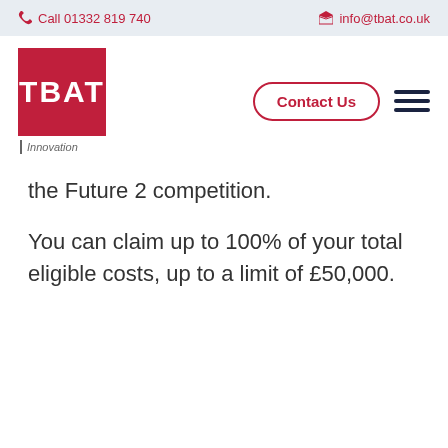Call 01332 819 740   info@tbat.co.uk
[Figure (logo): TBAT Innovation logo — red square with white TBAT text, and 'Innovation' tagline below]
the Future 2 competition.
You can claim up to 100% of your total eligible costs, up to a limit of £50,000.